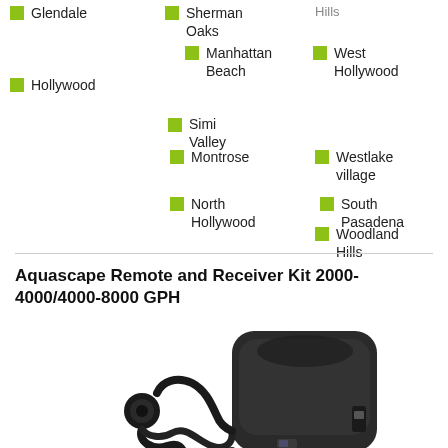Glendale
Sherman Oaks
West Hollywood
Manhattan Beach
Hollywood
Simi Valley
Westlake village
Montrose
South Pasadena
Woodland Hills
North Hollywood
Aquascape Remote and Receiver Kit 2000-4000/4000-8000 GPH
[Figure (photo): Photo of an Aquascape remote receiver kit showing a black power adapter/receiver unit and a coiled cable connector]